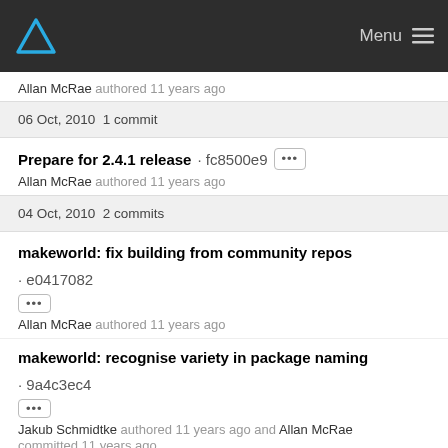Menu
Allan McRae authored 11 years ago
06 Oct, 2010 1 commit
Prepare for 2.4.1 release · fc8500e9 [...] Allan McRae authored 11 years ago
04 Oct, 2010 2 commits
makeworld: fix building from community repos · e0417082 [...] Allan McRae authored 11 years ago
makeworld: recognise variety in package naming · 9a4c3ec4 [...] Jakub Schmidtke authored 11 years ago and Allan McRae committed 11 years ago
03 Oct, 2010 3 commits
Add python PKGBUILD prototype · 90cbf6fc [...]